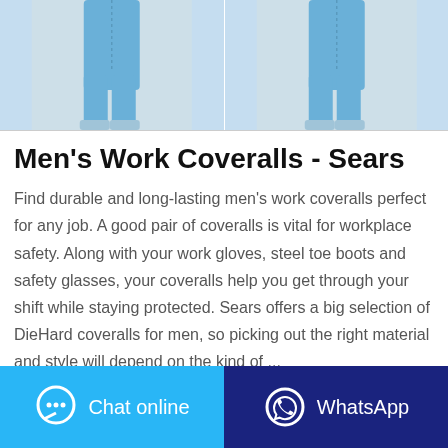[Figure (photo): Two photos of men wearing blue work coveralls, shown from waist down]
Men's Work Coveralls - Sears
Find durable and long-lasting men's work coveralls perfect for any job. A good pair of coveralls is vital for workplace safety. Along with your work gloves, steel toe boots and safety glasses, your coveralls help you get through your shift while staying protected. Sears offers a big selection of DieHard coveralls for men, so picking out the right material and style will depend on the kind of ...
Contact the manufacturer
WhatsApp
Chat online
WhatsApp